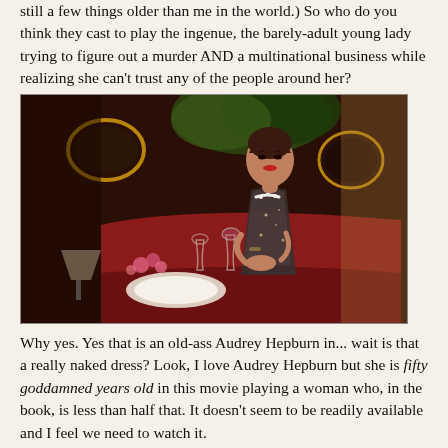still a few things older than me in the world.) So who do you think they cast to play the ingenue, the barely-adult young lady trying to figure out a murder AND a multinational business while realizing she can't trust any of the people around her?
[Figure (photo): A woman, identified as Audrey Hepburn, sitting at a restaurant table in a dark, glamorous setting, wearing a sparkly sheer dress and pearl necklace, with wine glasses and flowers on the table.]
Why yes. Yes that is an old-ass Audrey Hepburn in... wait is that a really naked dress? Look, I love Audrey Hepburn but she is fifty goddamned years old in this movie playing a woman who, in the book, is less than half that. It doesn't seem to be readily available and I feel we need to watch it.